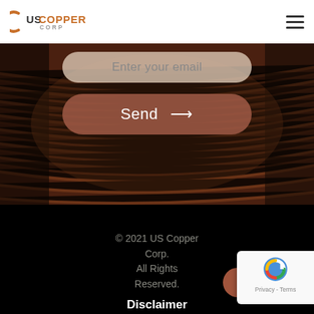US Copper Corp
[Figure (screenshot): Copper wire background with email input field showing 'Enter your email' placeholder text]
Enter your email
Send →
© 2021 US Copper Corp. All Rights Reserved. Disclaimer
[Figure (illustration): Social media icons: LinkedIn, Facebook, Twitter]
[Figure (logo): Google reCAPTCHA badge with Privacy and Terms links]